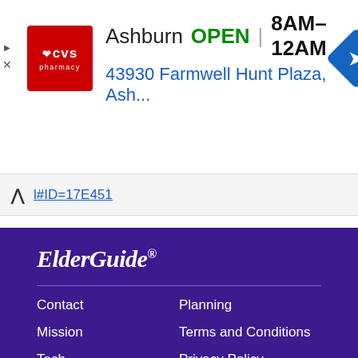[Figure (screenshot): CVS Pharmacy advertisement banner showing Ashburn location, OPEN status, hours 8AM–12AM, address 43930 Farmwell Hunt Plaza, Ash..., with directions icon]
l#ID=17E451
ElderGuide®
Contact
Planning
Mission
Terms and Conditions
Tech
Privacy Policy
Experts
Sitemap
All information, data and other material displayed on this website